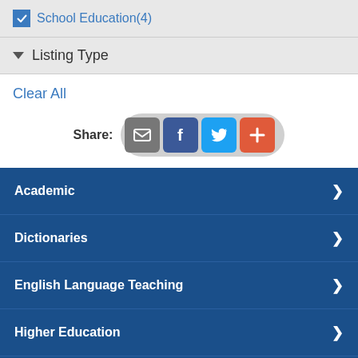School Education(4)
▼ Listing Type
Clear All
[Figure (infographic): Share buttons row: email (grey), Facebook (dark blue), Twitter (light blue), plus/more (orange-red), inside a pill-shaped grey container. Label 'Share:' to the left.]
Academic
Dictionaries
English Language Teaching
Higher Education
School Education